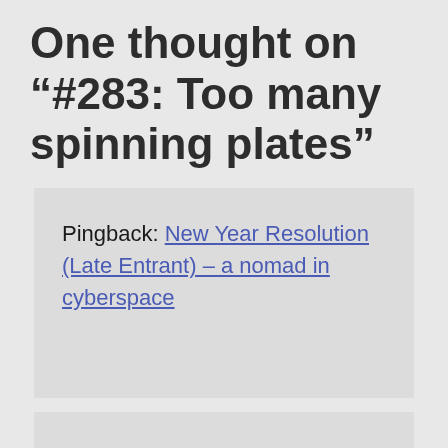One thought on “#283: Too many spinning plates”
Pingback: New Year Resolution (Late Entrant) – a nomad in cyberspace